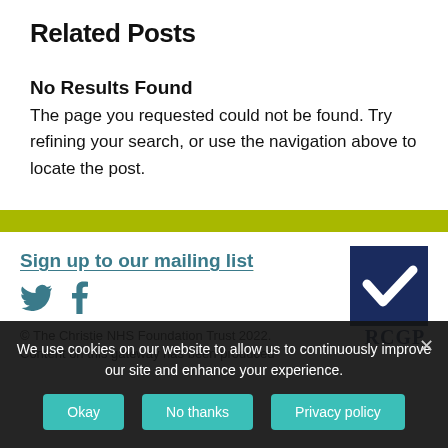Related Posts
No Results Found
The page you requested could not be found. Try refining your search, or use the navigation above to locate the post.
[Figure (other): Yellow-green horizontal divider bar]
Sign up to our mailing list
[Figure (other): Twitter and Facebook social media icons]
© The Christie NHS Foundation Trust 2022.
Content on this gateway has been produced
[Figure (logo): RCGP logo — navy blue square with white checkmark, RCGP text below]
We use cookies on our website to allow us to continuously improve our site and enhance your experience.
Okay   No thanks   Privacy policy